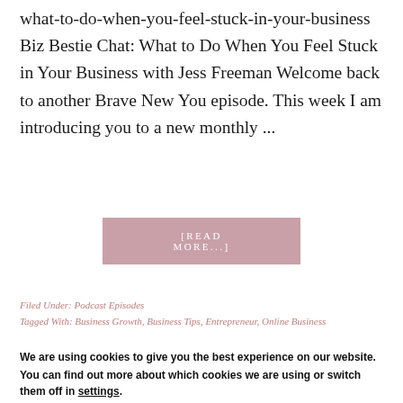what-to-do-when-you-feel-stuck-in-your-business Biz Bestie Chat: What to Do When You Feel Stuck in Your Business with Jess Freeman Welcome back to another Brave New You episode. This week I am introducing you to a new monthly ...
[READ MORE...]
Filed Under: Podcast Episodes
Tagged With: Business Growth, Business Tips, Entrepreneur, Online Business
We are using cookies to give you the best experience on our website.
You can find out more about which cookies we are using or switch them off in settings.
Accept